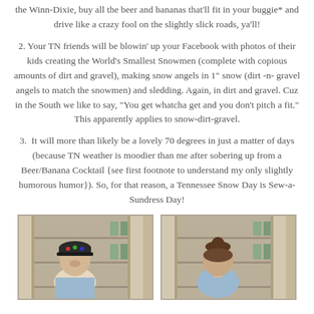the Winn-Dixie, buy all the beer and bananas that'll fit in your buggie* and drive like a crazy fool on the slightly slick roads, ya'll!
2. Your TN friends will be blowin' up your Facebook with photos of their kids creating the World's Smallest Snowmen (complete with copious amounts of dirt and gravel), making snow angels in 1" snow (dirt -n- gravel angels to match the snowmen) and sledding. Again, in dirt and gravel. Cuz in the South we like to say, "You get whatcha get and you don't pitch a fit." This apparently applies to snow-dirt-gravel.
3.  It will more than likely be a lovely 70 degrees in just a matter of days (because TN weather is moodier than me after sobering up from a Beer/Banana Cocktail {see first footnote to understand my only slightly humorous humor}). So, for that reason, a Tennessee Snow Day is Sew-a-Sundress Day!
[Figure (photo): Two side-by-side photos of a woman, left photo showing her facing forward wearing a cap with pins/decorations, right photo showing her from behind with hair up, both taken in front of what appears to be shelving/cabinetry.]